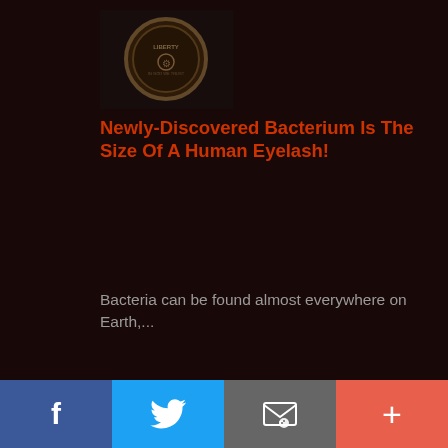[Figure (photo): Thumbnail image of a coin/medallion]
Newly-Discovered Bacterium Is The Size Of A Human Eyelash!
Bacteria can be found almost everywhere on Earth,...
[Figure (photo): Aerial photo of Colorado River bend]
Colorado River Drought Prompts Unprecedented Water Cuts To Southwest States
The 1,450-mile-long Colorado River...
f  Twitter  Email  +